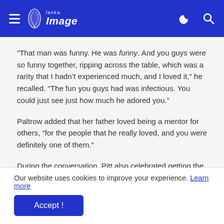Lanka Image
“That man was funny. He was funny. And you guys were so funny together, ripping across the table, which was a rarity that I hadn’t experienced much, and I loved it,” he recalled. “The fun you guys had was infectious. You could just see just how much he adored you.”
Paltrow added that her father loved being a mentor for others, “for the people that he really loved, and you were definitely one of them.”
During the conversation, Pitt also celebrated getting the
Our website uses cookies to improve your experience. Learn more
Accept !